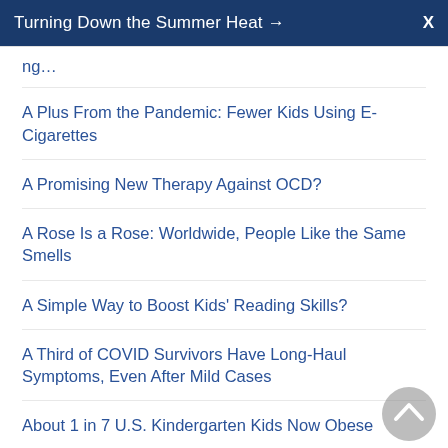Turning Down the Summer Heat →  X
A Plus From the Pandemic: Fewer Kids Using E-Cigarettes
A Promising New Therapy Against OCD?
A Rose Is a Rose: Worldwide, People Like the Same Smells
A Simple Way to Boost Kids' Reading Skills?
A Third of COVID Survivors Have Long-Haul Symptoms, Even After Mild Cases
About 1 in 7 U.S. Kindergarten Kids Now Obese
About 4 in 10 Stroke Survivors Who Smoke Don't Quit the Habit
About 40,000 U.S. Children Have Lost a Parent to COVID-19
Abuse in Childhood May Shorten Adult Lives: Study